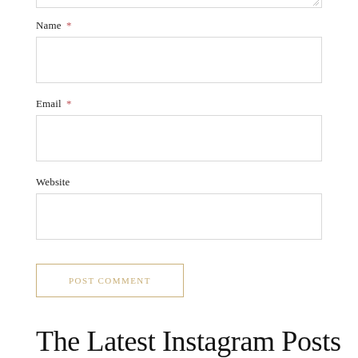Name *
Email *
Website
POST COMMENT
The Latest Instagram Posts